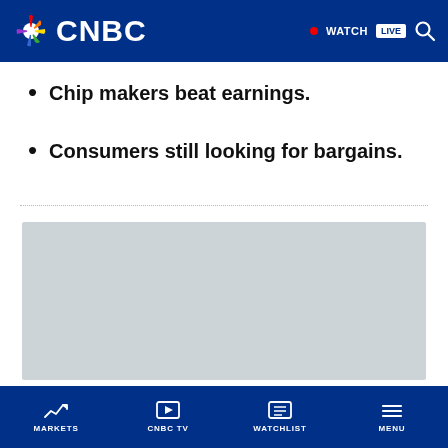CNBC — WATCH LIVE
Chip makers beat earnings.
Consumers still looking for bargains.
[Figure (photo): Gray placeholder image / advertisement block]
MARKETS | CNBC TV | WATCHLIST | MENU